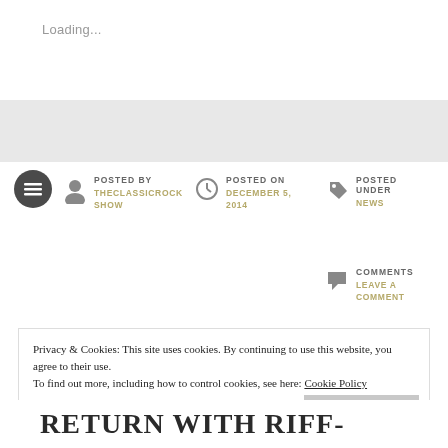Loading...
[Figure (other): Grey banner background strip]
POSTED BY
THECLASSICROCK SHOW
POSTED ON
DECEMBER 5, 2014
POSTED UNDER
NEWS
COMMENTS
LEAVE A COMMENT
Privacy & Cookies: This site uses cookies. By continuing to use this website, you agree to their use.
To find out more, including how to control cookies, see here: Cookie Policy
Close and accept
RETURN WITH RIFF-